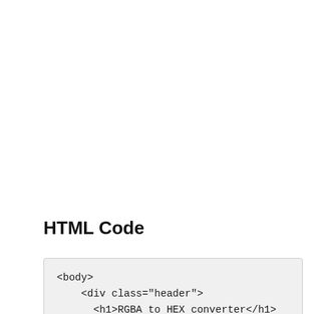HTML Code
<body>
    <div class="header">
      <h1>RGBA to HEX converter</h1>
    </div>
    <div class="content">